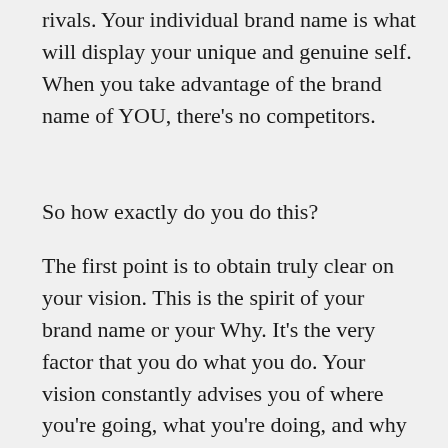rivals. Your individual brand name is what will display your unique and genuine self. When you take advantage of the brand name of YOU, there's no competitors.
So how exactly do you do this?
The first point is to obtain truly clear on your vision. This is the spirit of your brand name or your Why. It's the very factor that you do what you do. Your vision constantly advises you of where you're going, what you're doing, and why you're doing it.
After that start to write more individual messages on your blog site, produce